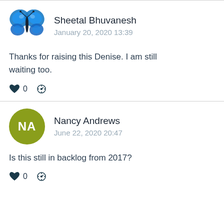Sheetal Bhuvanesh
January 20, 2020 13:39
Thanks for raising this Denise. I am still waiting too.
Nancy Andrews
June 22, 2020 20:47
Is this still in backlog from 2017?